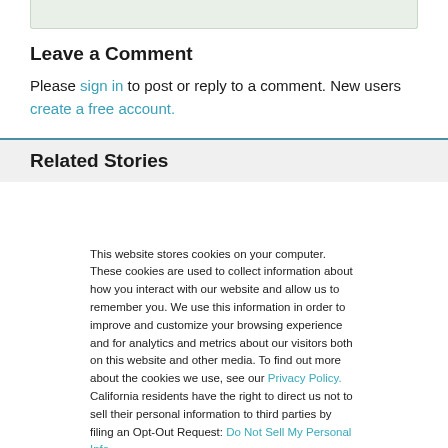Leave a Comment
Please sign in to post or reply to a comment. New users create a free account.
Related Stories
This website stores cookies on your computer. These cookies are used to collect information about how you interact with our website and allow us to remember you. We use this information in order to improve and customize your browsing experience and for analytics and metrics about our visitors both on this website and other media. To find out more about the cookies we use, see our Privacy Policy. California residents have the right to direct us not to sell their personal information to third parties by filing an Opt-Out Request: Do Not Sell My Personal Info.
Accept